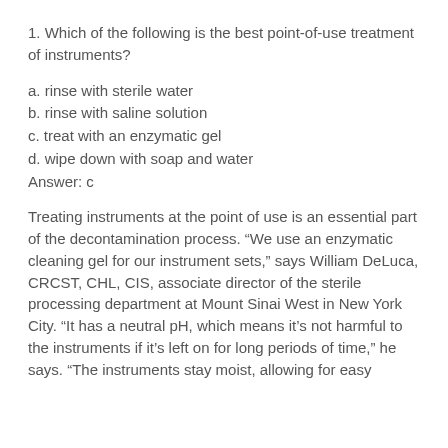1. Which of the following is the best point-of-use treatment of instruments?
a. rinse with sterile water
b. rinse with saline solution
c. treat with an enzymatic gel
d. wipe down with soap and water
Answer: c
Treating instruments at the point of use is an essential part of the decontamination process. “We use an enzymatic cleaning gel for our instrument sets,” says William DeLuca, CRCST, CHL, CIS, associate director of the sterile processing department at Mount Sinai West in New York City. “It has a neutral pH, which means it’s not harmful to the instruments if it’s left on for long periods of time,” he says. “The instruments stay moist, allowing for easy